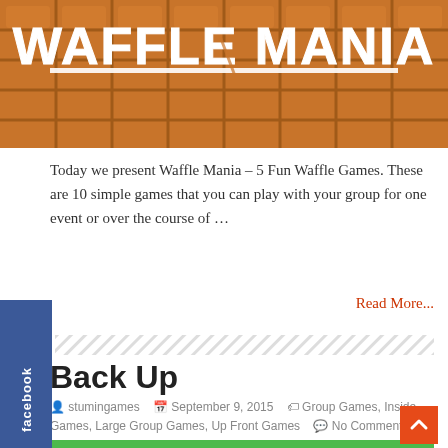[Figure (photo): Waffle Mania banner image showing a waffle with white 'Waffle Mania' text overlaid]
Today we present Waffle Mania – 5 Fun Waffle Games. These are 10 simple games that you can play with your group for one event or over the course of …
Read More...
Back Up
stumingames  September 9, 2015  Group Games, Inside Games, Large Group Games, Up Front Games  No Comments
[Figure (photo): Green background image with 'BACK UP' text in large white outlined letters]